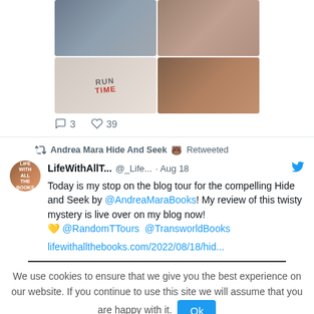[Figure (photo): Grid of four photos: top row with two photos (people/scenes), bottom row with a book cover showing 'RUN TIME' text and two people at an event]
3   39
Andrea Mara Hide And Seek 🐻 Retweeted
LifeWithAllT... @_Life... · Aug 18
Today is my stop on the blog tour for the compelling Hide and Seek by @AndreaMaraBooks! My review of this twisty mystery is live over on my blog now! 💛 @RandomTTours @TransworldBooks
lifewithallthebooks.com/2022/08/18/hid...
We use cookies to ensure that we give you the best experience on our website. If you continue to use this site we will assume that you are happy with it.  Ok